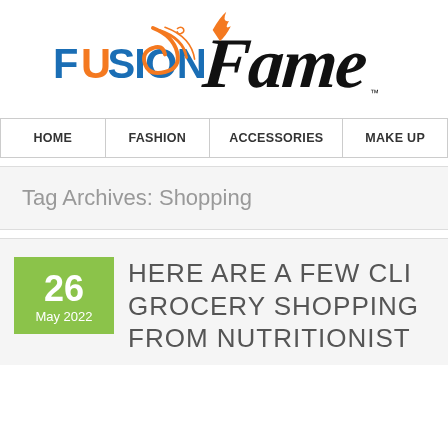[Figure (logo): Fusion Fame brand logo combining blue Fusion wordmark and black Fame script with orange flame/swirl decoration]
| HOME | FASHION | ACCESSORIES | MAKE UP |
| --- | --- | --- | --- |
Tag Archives: Shopping
26 May 2022
HERE ARE A FEW CLI GROCERY SHOPPING FROM NUTRITIONIST